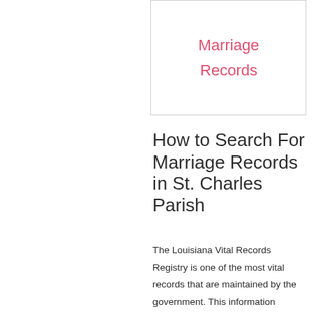[Figure (other): Navigation box with pink/red text reading 'Marriage Records']
How to Search For Marriage Records in St. Charles Parish
The Louisiana Vital Records Registry is one of the most vital records that are maintained by the government. This information includes all details about a person's personal history, from birth to death. The state maintains this record, along with